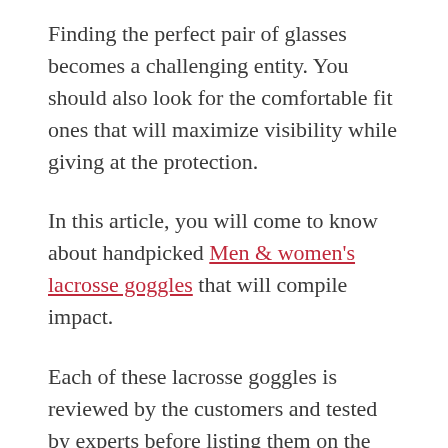Finding the perfect pair of glasses becomes a challenging entity. You should also look for the comfortable fit ones that will maximize visibility while giving at the protection.
In this article, you will come to know about handpicked Men & women's lacrosse goggles that will compile impact.
Each of these lacrosse goggles is reviewed by the customers and tested by experts before listing them on the online websites.
Read on to find more about the lacrosse goggles.